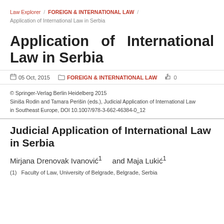Law Explorer / FOREIGN & INTERNATIONAL LAW / Application of International Law in Serbia
Application of International Law in Serbia
05 Oct, 2015   FOREIGN & INTERNATIONAL LAW   0
© Springer-Verlag Berlin Heidelberg 2015
Siniša Rodin and Tamara Perišin (eds.), Judicial Application of International Law in Southeast Europe, DOI 10.1007/978-3-662-46384-0_12
Judicial Application of International Law in Serbia
Mirjana Drenovak Ivanović¹    and Maja Lukić¹
(1)   Faculty of Law, University of Belgrade, Belgrade, Serbia